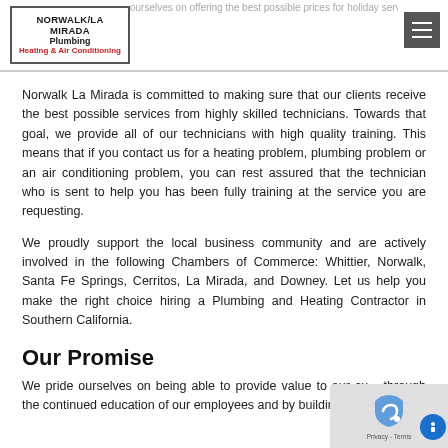Norwalk La Mirada Plumbing Heating & Air Conditioning
Norwalk La Mirada is committed to making sure that our clients receive the best possible services from highly skilled technicians. Towards that goal, we provide all of our technicians with high quality training. This means that if you contact us for a heating problem, plumbing problem or an air conditioning problem, you can rest assured that the technician who is sent to help you has been fully training at the service you are requesting.
We proudly support the local business community and are actively involved in the following Chambers of Commerce: Whittier, Norwalk, Santa Fe Springs, Cerritos, La Mirada, and Downey. Let us help you make the right choice hiring a Plumbing and Heating Contractor in Southern California.
Our Promise
We pride ourselves on being able to provide value to our cu... through the continued education of our employees and by building